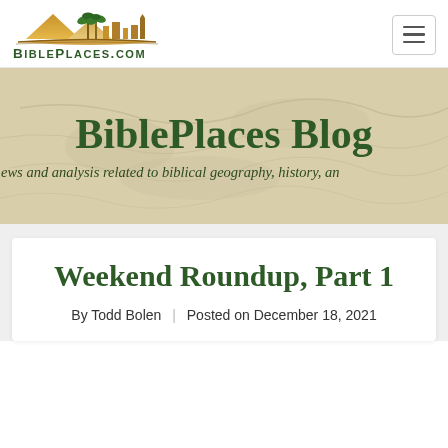[Figure (logo): BiblePlaces.com logo with mountain, palm trees and open book silhouette above the text BIBLEPLACES.COM in dark green]
BiblePlaces Blog
news and analysis related to biblical geography, history, an
Weekend Roundup, Part 1
By Todd Bolen | Posted on December 18, 2021